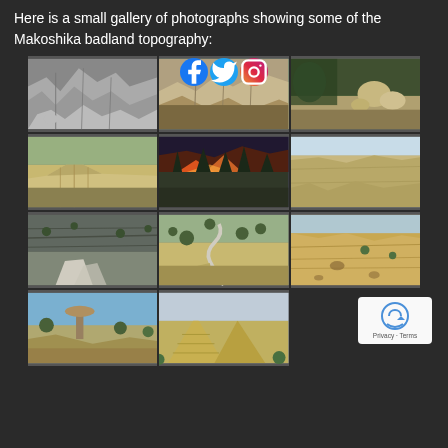Here is a small gallery of photographs showing some of the Makoshika badland topography:
[Figure (photo): Gallery of 10+ photographs showing Makoshika badland topography including eroded rock formations, hoodoos, river channels, cliffs, and landscape views at various times of day]
[Figure (other): Google reCAPTCHA badge with Privacy and Terms links]